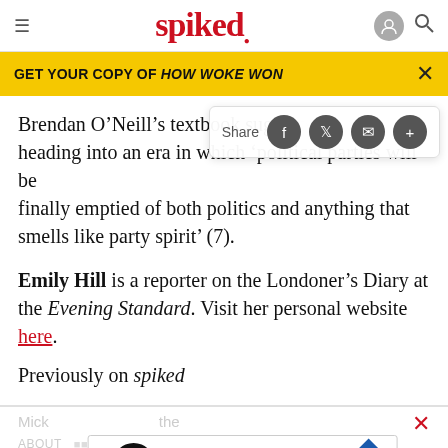spiked
GET YOUR COPY OF HOW WOKE WON
Brendan O’Neill’s textbook suggests we are heading into an era in which ‘political parties will be finally emptied of both politics and anything that smells like party spirit’ (7).
Emily Hill is a reporter on the Londoner’s Diary at the Evening Standard. Visit her personal website here.
Previously on spiked
Mick ... the ABOUT ...